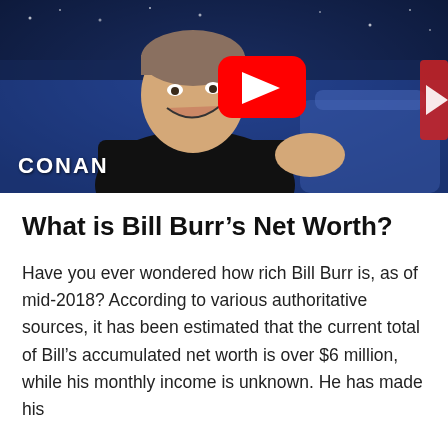[Figure (screenshot): A screenshot of a YouTube video thumbnail showing a man in a black sweater laughing, seated in a chair against a blue background on the Conan show. A red YouTube play button is overlaid in the center. The word CONAN appears in white bold text in the lower left corner.]
What is Bill Burr’s Net Worth?
Have you ever wondered how rich Bill Burr is, as of mid-2018? According to various authoritative sources, it has been estimated that the current total of Bill’s accumulated net worth is over $6 million, while his monthly income is unknown. He has made his